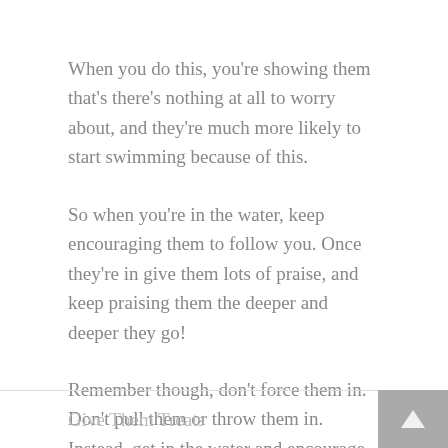When you do this, you're showing them that's there's nothing at all to worry about, and they're much more likely to start swimming because of this.
So when you're in the water, keep encouraging them to follow you. Once they're in give them lots of praise, and keep praising them the deeper and deeper they go!
Remember though, don't force them in. Don't pull them or throw them in. Instead, get in the water and encourage them to follow you in.
Give Them Treats